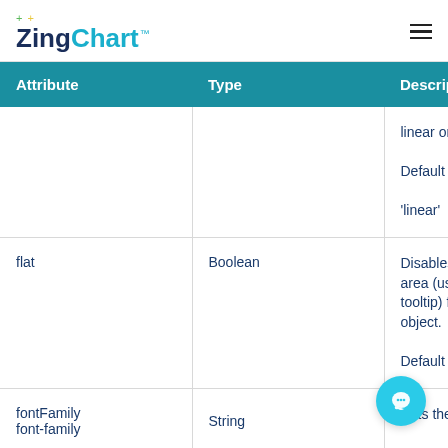ZingChart
| Attribute | Type | Description |
| --- | --- | --- |
|  |  | linear or m... Default Va... 'linear' |
| flat | Boolean | Disables t... area (use... tooltip) fo... object. Default Va... |
| fontFamily
font-family | String | Sets the t... |